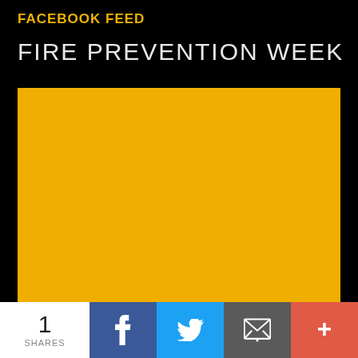FACEBOOK FEED
FIRE PREVENTION WEEK
[Figure (illustration): Large solid amber/golden-yellow rectangle image placeholder for Fire Prevention Week Facebook feed post]
1 SHARES